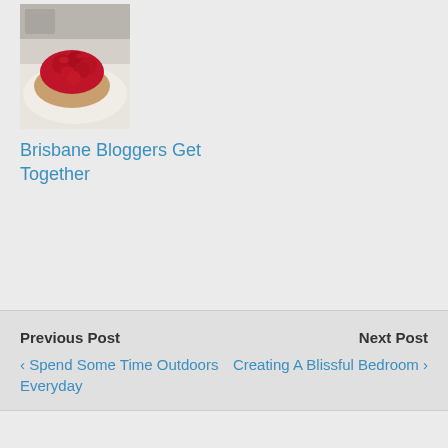[Figure (photo): Photo of a red raspberry or strawberry dessert/pastry on a white plate]
Brisbane Bloggers Get Together
Previous Post
‹ Spend Some Time Outdoors Everyday
Next Post
Creating A Blissful Bedroom ›
1 response